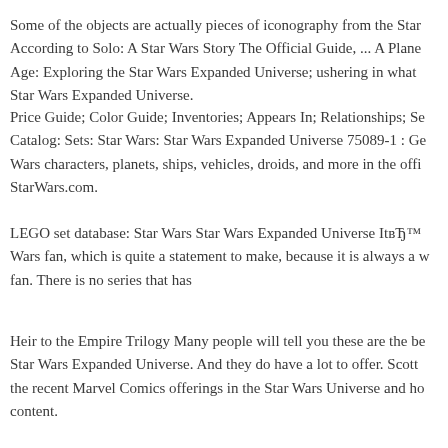Some of the objects are actually pieces of iconography from the Star According to Solo: A Star Wars Story The Official Guide, ... A Plane Age: Exploring the Star Wars Expanded Universe; ushering in what Star Wars Expanded Universe.
Price Guide; Color Guide; Inventories; Appears In; Relationships; Se Catalog: Sets: Star Wars: Star Wars Expanded Universe 75089-1 : Ge Wars characters, planets, ships, vehicles, droids, and more in the offi StarWars.com.
LEGO set database: Star Wars Star Wars Expanded Universe ItвЂ™s Wars fan, which is quite a statement to make, because it is always a w fan. There is no series that has
Heir to the Empire Trilogy Many people will tell you these are the be Star Wars Expanded Universe. And they do have a lot to offer. Scott the recent Marvel Comics offerings in the Star Wars Universe and ho content.